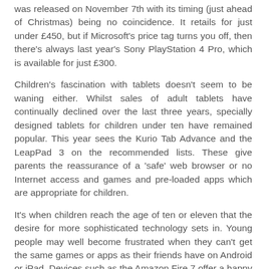was released on November 7th with its timing (just ahead of Christmas) being no coincidence. It retails for just under £450, but if Microsoft's price tag turns you off, then there's always last year's Sony PlayStation 4 Pro, which is available for just £300.
Children's fascination with tablets doesn't seem to be waning either. Whilst sales of adult tablets have continually declined over the last three years, specially designed tablets for children under ten have remained popular. This year sees the Kurio Tab Advance and the LeapPad 3 on the recommended lists. These give parents the reassurance of a 'safe' web browser or no Internet access and games and pre-loaded apps which are appropriate for children.
It's when children reach the age of ten or eleven that the desire for more sophisticated technology sets in. Young people may well become frustrated when they can't get the same games or apps as their friends have on Android or iPad. Devices such as the Amazon Fire 7 offer a happy medium, allowing parents to set up password-protected profiles so they can give each child access to only the books, games and apps they want them to see. But what happens when children reach an age where they want to interact with their friends online? Games consoles have always been highly targeted at the teenage market. Once